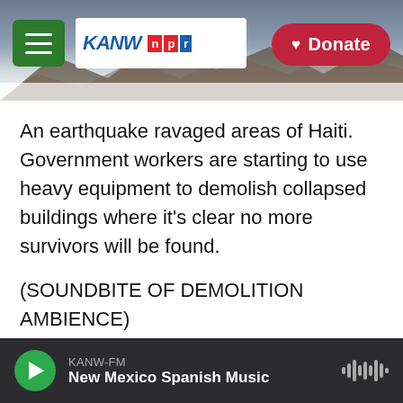KANW NPR — Donate
[Figure (screenshot): Mountain landscape background in header area with cloudy sky]
An earthquake ravaged areas of Haiti. Government workers are starting to use heavy equipment to demolish collapsed buildings where it's clear no more survivors will be found.
(SOUNDBITE OF DEMOLITION AMBIENCE)
CHANG: Tens of thousands of homes in the southern part of the Caribbean nation were damaged or destroyed in Saturday's 7.2-magnitude quake. The death toll is at least 1,400 now and is expected to rise. NPR's Jason Beaubien is just
KANW-FM New Mexico Spanish Music